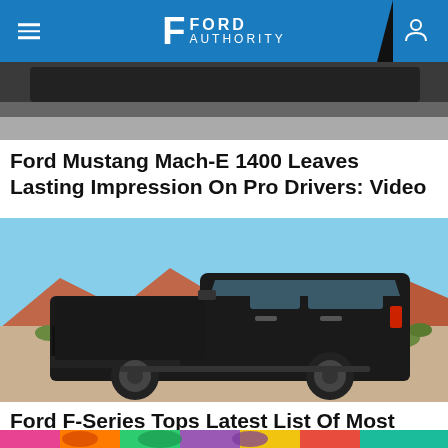Ford Authority
[Figure (photo): Partial view of a dark car, bottom portion cropped - appears to be the underside/bottom of a vehicle against a gray road background]
Ford Mustang Mach-E 1400 Leaves Lasting Impression On Pro Drivers: Video
[Figure (photo): Black Ford F-Series Super Duty truck parked in desert landscape with red mountains in background under blue sky]
Ford F-Series Tops Latest List Of Most Stolen Vehicles
[Figure (photo): Colorful illustrated/graphic image with bright colors - partial view at bottom of page]